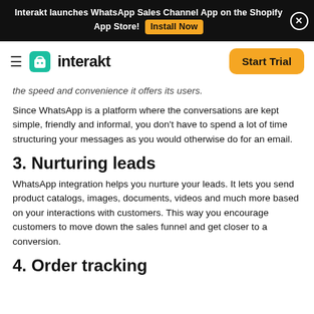Interakt launches WhatsApp Sales Channel App on the Shopify App Store! Install Now
[Figure (logo): Interakt logo with hamburger menu and Start Trial button]
the speed and convenience it offers its users.
Since WhatsApp is a platform where the conversations are kept simple, friendly and informal, you don't have to spend a lot of time structuring your messages as you would otherwise do for an email.
3. Nurturing leads
WhatsApp integration helps you nurture your leads. It lets you send product catalogs, images, documents, videos and much more based on your interactions with customers. This way you encourage customers to move down the sales funnel and get closer to a conversion.
4. Order tracking